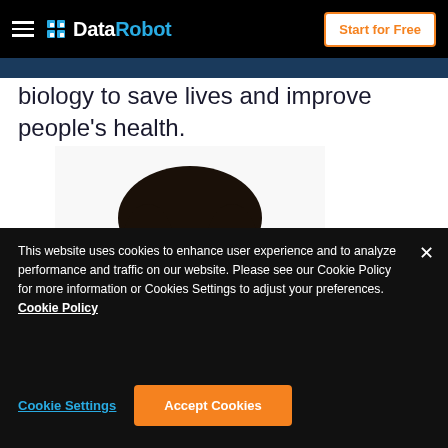DataRobot — Start for Free
biology to save lives and improve people's health.
[Figure (photo): Headshot of a young man with dark hair, wearing a dark t-shirt, shown from the shoulders up against a white background.]
This website uses cookies to enhance user experience and to analyze performance and traffic on our website. Please see our Cookie Policy for more information or Cookies Settings to adjust your preferences. Cookie Policy
Cookie Settings
Accept Cookies